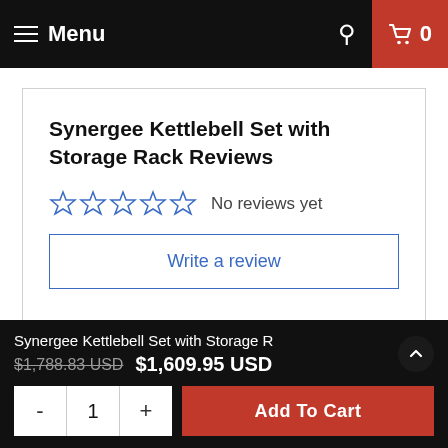Menu | Search | Cart 0
Synergee Kettlebell Set with Storage Rack Reviews
No reviews yet
Write a review
You may also like
Synergee Kettlebell Set with Storage R
$1,788.83 USD  $1,609.95 USD
- 1 + Add To Cart